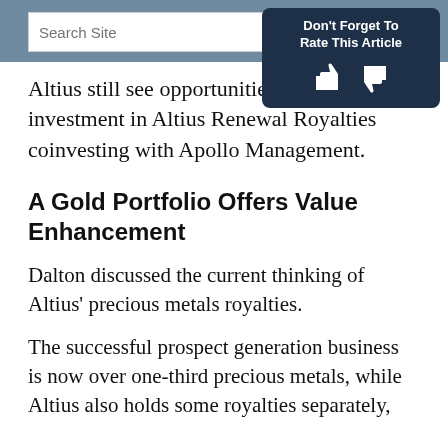Search Site
[Figure (infographic): Don't Forget To Rate This Article box with thumbs up and thumbs down icons]
Altius still see opportunities to add investment in Altius Renewal Royalties coinvesting with Apollo Management.
A Gold Portfolio Offers Value Enhancement
Dalton discussed the current thinking of Altius' precious metals royalties.
The successful prospect generation business is now over one-third precious metals, while Altius also holds some royalties separately,